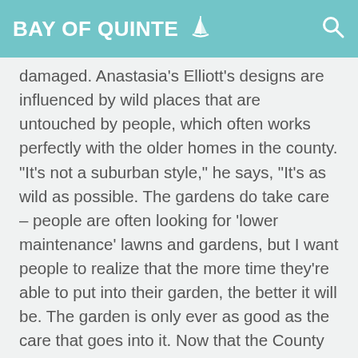BAY OF QUINTE
damaged. Anastasia's Elliott's designs are influenced by wild places that are untouched by people, which often works perfectly with the older homes in the county. "It's not a suburban style," he says, "It's as wild as possible. The gardens do take care – people are often looking for 'lower maintenance' lawns and gardens, but I want people to realize that the more time they're able to put into their garden, the better it will be. The garden is only ever as good as the care that goes into it. Now that the County is becoming an attractive destination to people who are looking for the wild countryside, I'm glad